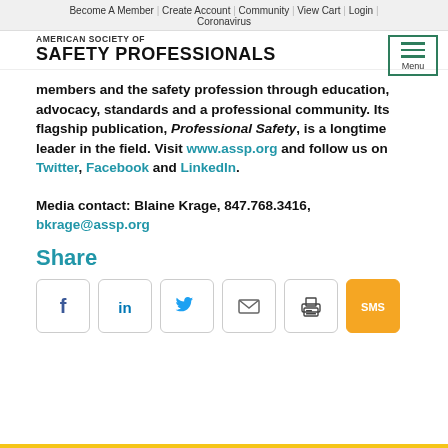Become A Member | Create Account | Community | View Cart | Login | Coronavirus
AMERICAN SOCIETY OF SAFETY PROFESSIONALS
members and the safety profession through education, advocacy, standards and a professional community. Its flagship publication, Professional Safety, is a longtime leader in the field. Visit www.assp.org and follow us on Twitter, Facebook and LinkedIn.
Media contact: Blaine Krage, 847.768.3416, bkrage@assp.org
Share
[Figure (infographic): Six social sharing icon buttons in rounded rectangle boxes: Facebook (f), LinkedIn (in), Twitter (bird), Email (envelope), Print (printer), SMS (SMS on yellow background)]